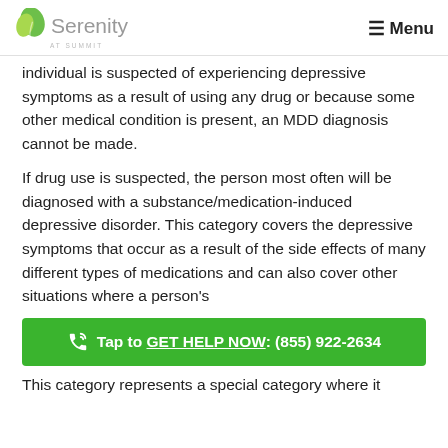Serenity at Summit — Menu
individual is suspected of experiencing depressive symptoms as a result of using any drug or because some other medical condition is present, an MDD diagnosis cannot be made.
If drug use is suspected, the person most often will be diagnosed with a substance/medication-induced depressive disorder. This category covers the depressive symptoms that occur as a result of the side effects of many different types of medications and can also cover other situations where a person's
Tap to GET HELP NOW: (855) 922-2634
This category represents a special category where it